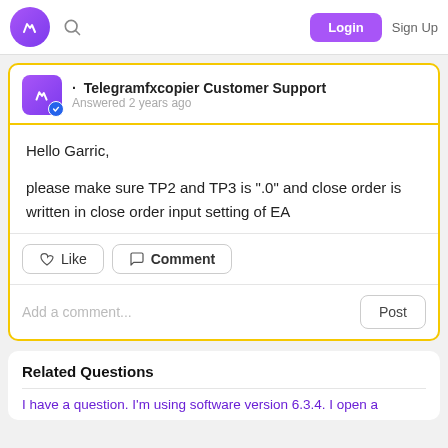Telegramfxcopier Customer Support | Login | Sign Up
Telegramfxcopier Customer Support
Answered 2 years ago
Hello Garric,

please make sure TP2 and TP3 is ".0" and close order is written in close order input setting of EA
Like  Comment
Add a comment...  Post
Related Questions
I have a question. I'm using software version 6.3.4. I open a